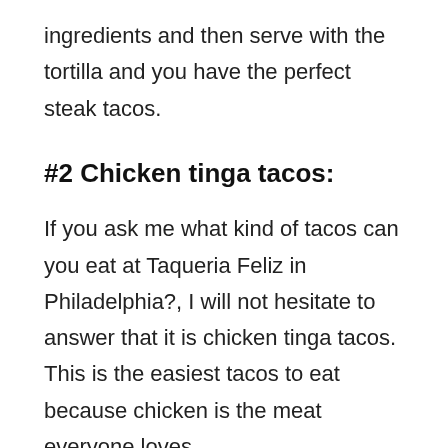ingredients and then serve with the tortilla and you have the perfect steak tacos.
#2 Chicken tinga tacos:
If you ask me what kind of tacos can you eat at Taqueria Feliz in Philadelphia?, I will not hesitate to answer that it is chicken tinga tacos. This is the easiest tacos to eat because chicken is the meat everyone loves.
Chiecken tinga tacos also has vegetables like